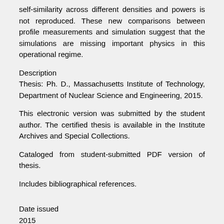self-similarity across different densities and powers is not reproduced. These new comparisons between profile measurements and simulation suggest that the simulations are missing important physics in this operational regime.
Description
Thesis: Ph. D., Massachusetts Institute of Technology, Department of Nuclear Science and Engineering, 2015.
This electronic version was submitted by the student author. The certified thesis is available in the Institute Archives and Special Collections.
Cataloged from student-submitted PDF version of thesis.
Includes bibliographical references.
Date issued
2015
URI